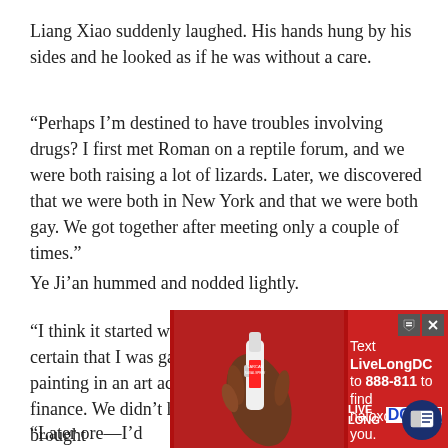Liang Xiao suddenly laughed. His hands hung by his sides and he looked as if he was without a care.
“Perhaps I’m destined to have troubles involving drugs? I first met Roman on a reptile forum, and we were both raising a lot of lizards. Later, we discovered that we were both in New York and that we were both gay. We got together after meeting only a couple of times.”
Ye Ji’an hummed and nodded lightly.
“I think it started when I was around eighteen. I was certain that I was gay. Roman was studying oil painting in an art academy while I had been studying finance. We didn’t have many common topics a[...] ip brought[...]
[Figure (other): Advertisement overlay: Red background ad for LiveLongDC promoting naloxone. Text reads 'Text LiveLongDC to 888-811 to find naloxone near you.' Logos: LIVE LONG DC, DBH, Government of the District of Columbia, Muriel Bowser Mayor. Photo of hand holding a nasal spray. Blue circular read button at bottom right.]
“Later o[...] re—I’d